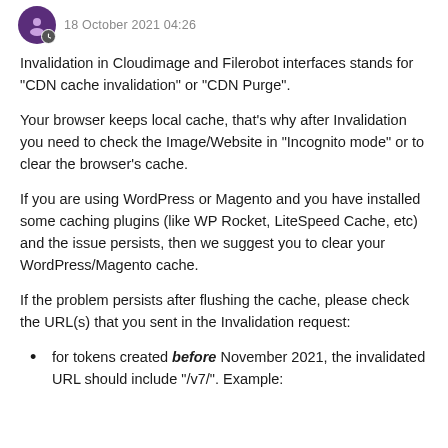18 October 2021 04:26
Invalidation in Cloudimage and Filerobot interfaces stands for "CDN cache invalidation" or "CDN Purge".
Your browser keeps local cache, that's why after Invalidation you need to check the Image/Website in "Incognito mode" or to clear the browser's cache.
If you are using WordPress or Magento and you have installed some caching plugins (like WP Rocket, LiteSpeed Cache, etc) and the issue persists, then we suggest you to clear your WordPress/Magento cache.
If the problem persists after flushing the cache, please check the URL(s) that you sent in the Invalidation request:
for tokens created before November 2021, the invalidated URL should include "/v7/". Example: